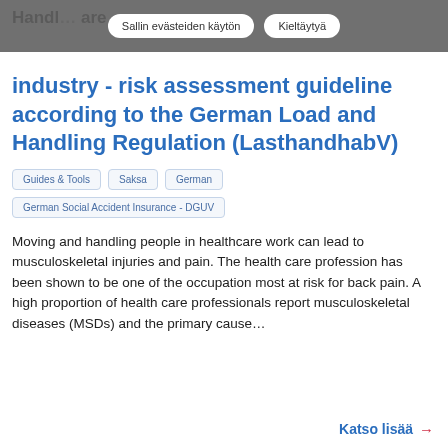Healthcare industry - risk assessment guideline according to the German Load and Handling Regulation (LasthandhabV)
Guides & Tools
Saksa
German
German Social Accident Insurance - DGUV
Moving and handling people in healthcare work can lead to musculoskeletal injuries and pain. The health care profession has been shown to be one of the occupation most at risk for back pain. A high proportion of health care professionals report musculoskeletal diseases (MSDs) and the primary cause...
Katso lisää →